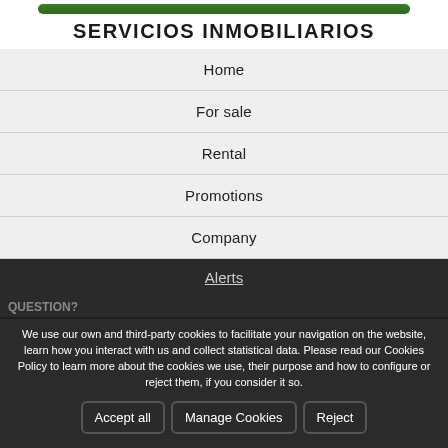SERVICIOS INMOBILIARIOS
Home
For sale
Rental
Promotions
Company
Alerts
We use our own and third-party cookies to facilitate your navigation on the website, learn how you interact with us and collect statistical data. Please read our Cookies Policy to learn more about the cookies we use, their purpose and how to configure or reject them, if you consider it so.
Accept all | Manage Cookies | Reject